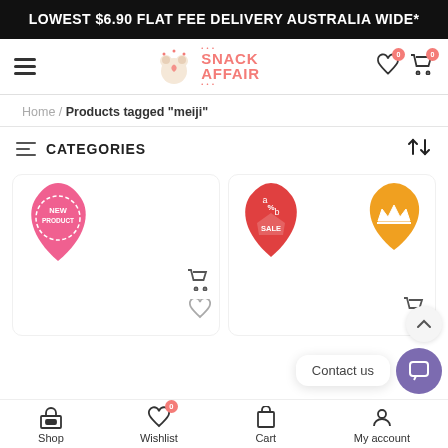LOWEST $6.90 FLAT FEE DELIVERY AUSTRALIA WIDE*
[Figure (logo): Snack Affair logo with hamburger menu, heart and cart nav icons]
Home / Products tagged "meiji"
CATEGORIES
[Figure (illustration): Product card 1 with NEW PRODUCT badge]
[Figure (illustration): Product card 2 with SALE badge and crown badge]
Contact us
Shop  Wishlist  Cart  My account